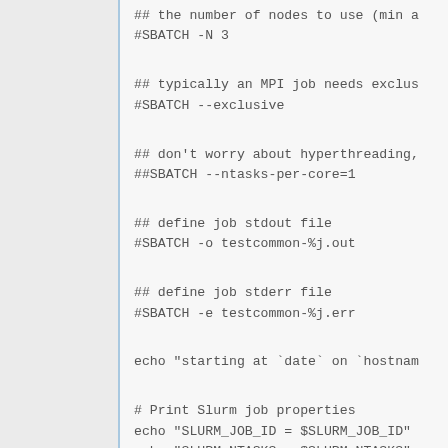## the number of nodes to use (min a
#SBATCH -N 3

## typically an MPI job needs exclus
#SBATCH --exclusive

## don't worry about hyperthreading,
##SBATCH --ntasks-per-core=1

## define job stdout file
#SBATCH -o testcommon-%j.out

## define job stderr file
#SBATCH -e testcommon-%j.err

echo "starting at `date` on `hostnam

# Print Slurm job properties
echo "SLURM_JOB_ID = $SLURM_JOB_ID"
echo "SLURM_NTASKS = $SLURM_NTASKS"
echo "SLURM_JOB_NUM_NODES = $SLURM_J
echo "SLURM_JOB_NODELIST = $SLURM_JO
echo "SLURM_JOB_CPUS_PER_NODE = $SLU

mpiexec -n $SLURM_NTASKS ./hello_mpi

echo "ended at `date` on `hostname`"
exit 0